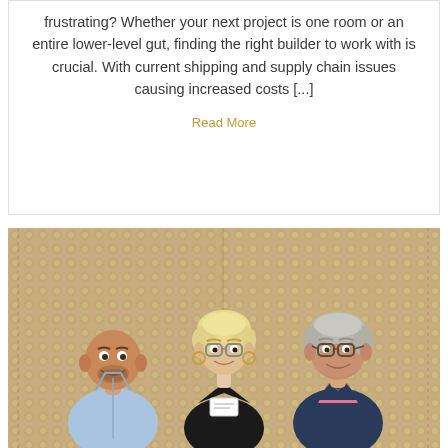frustrating? Whether your next project is one room or an entire lower-level gut, finding the right builder to work with is crucial. With current shipping and supply chain issues causing increased costs [...]
Read More
[Figure (photo): Three people posing together in front of a textured gold/beige sequined backdrop. Left: a bald man in a light blue shirt smiling. Center: a blonde woman with short hair and glasses wearing a black halter-neck dress with a name tag. Right: a man with gray hair wearing glasses, a pink shirt, and a navy blazer.]